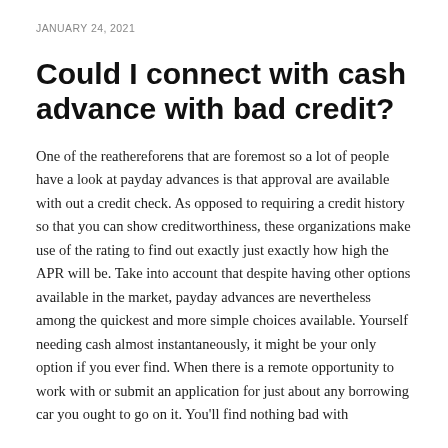JANUARY 24, 2021
Could I connect with cash advance with bad credit?
One of the reathereforens that are foremost so a lot of people have a look at payday advances is that approval are available with out a credit check. As opposed to requiring a credit history so that you can show creditworthiness, these organizations make use of the rating to find out exactly just exactly how high the APR will be. Take into account that despite having other options available in the market, payday advances are nevertheless among the quickest and more simple choices available. Yourself needing cash almost instantaneously, it might be your only option if you ever find. When there is a remote opportunity to work with or submit an application for just about any borrowing car you ought to go on it. You'll find nothing bad with